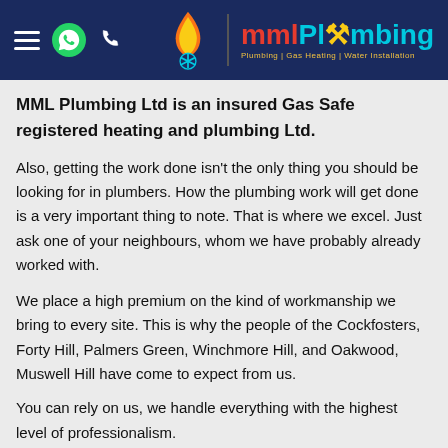[Figure (logo): MML Plumbing Ltd website header with hamburger menu, WhatsApp icon, phone icon on the left, and flame/snowflake logo with MML Plumbing text and tagline on the right, on a dark navy background]
MML Plumbing Ltd is an insured Gas Safe registered heating and plumbing Ltd.
Also, getting the work done isn't the only thing you should be looking for in plumbers. How the plumbing work will get done is a very important thing to note. That is where we excel. Just ask one of your neighbours, whom we have probably already worked with.
We place a high premium on the kind of workmanship we bring to every site. This is why the people of the Cockfosters, Forty Hill, Palmers Green, Winchmore Hill, and Oakwood, Muswell Hill have come to expect from us.
You can rely on us, we handle everything with the highest level of professionalism.